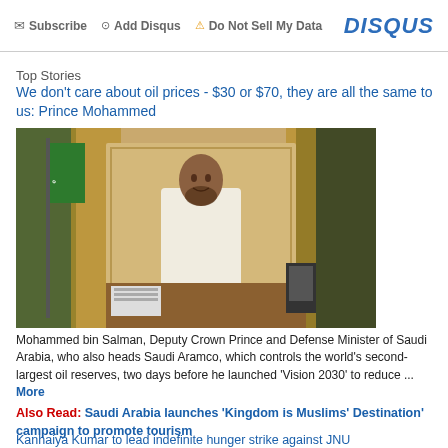Subscribe  Add Disqus  Do Not Sell My Data  DISQUS
Top Stories
We don't care about oil prices - $30 or $70, they are all the same to us: Prince Mohammed
[Figure (photo): Mohammed bin Salman standing at a desk in an ornate room with gold curtains and a Saudi Arabia flag]
Mohammed bin Salman, Deputy Crown Prince and Defense Minister of Saudi Arabia, who also heads Saudi Aramco, which controls the world's second-largest oil reserves, two days before he launched 'Vision 2030' to reduce ... More
Also Read: Saudi Arabia launches 'Kingdom is Muslims' Destination' campaign to promote tourism
Kanhaiya Kumar to lead indefinite hunger strike against JNU